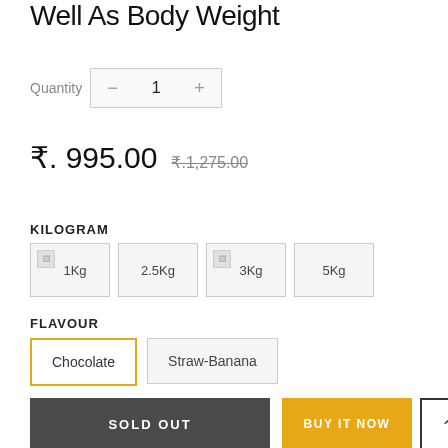Well As Body Weight
Quantity — 1
₹. 995.00  ₹.1,275.00
KILOGRAM
1Kg  2.5Kg  3Kg  5Kg
FLAVOUR
Chocolate  Straw-Banana
SOLD OUT
BUY IT NOW